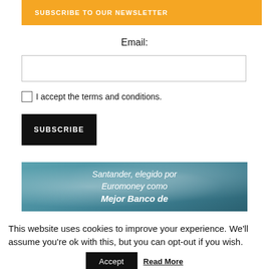SUBSCRIBE TO OUR NEWSLETTER
Email:
I accept the terms and conditions.
SUBSCRIBE
[Figure (photo): Sky/clouds banner with text: 'Santander, elegido por Euromoney como Mejor Banco de']
This website uses cookies to improve your experience. We'll assume you're ok with this, but you can opt-out if you wish.
Accept
Read More